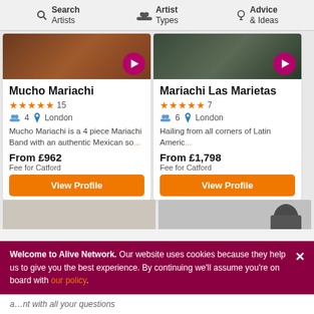Search Artists | Artist Types | Advice & Ideas
Mucho Mariachi
★★★★★ 15
4  London
Mucho Mariachi is a 4 piece Mariachi Band with an authentic Mexican so...
From £962
Fee for Catford
Mariachi Las Marietas
★★★★★ 7
6  London
Hailing from all corners of Latin Americ...
From £1,798
Fee for Catford
Welcome to Alive Network. Our website uses cookies because they help us to give you the best experience. By continuing we'll assume you're on board with our policy.